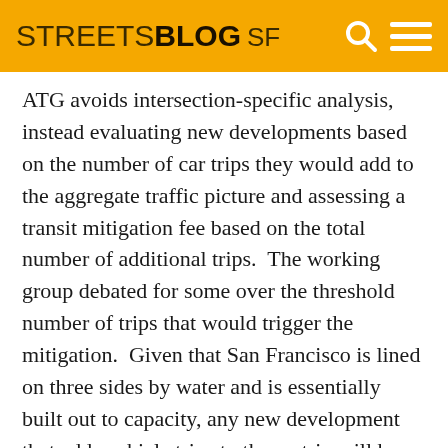STREETSBLOG SF
ATG avoids intersection-specific analysis, instead evaluating new developments based on the number of car trips they would add to the aggregate traffic picture and assessing a transit mitigation fee based on the total number of additional trips.  The working group debated for some over the threshold number of trips that would trigger the mitigation.  Given that San Francisco is lined on three sides by water and is essentially built out to capacity, any new development that adds vehicle trips to the matrix will have an impact on overall traffic, so the threshold they decided on is one trip.
As Rachel Hiatt, senior transportation planner for the Transportation Research Board in...